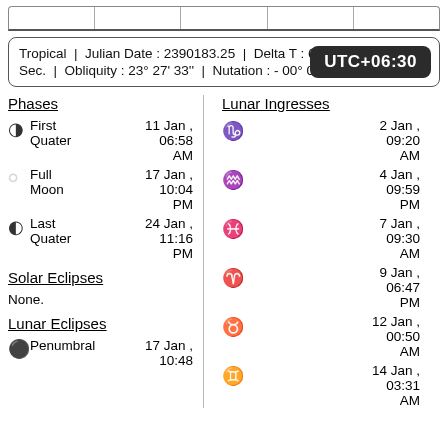Tropical | Julian Date : 2390183.25 | Delta T : 6.33 Sec. | Obliquity : 23° 27' 33'' | Nutation : - 00° 00' 12'' UTC+06:30
Phases
First Quater  11 Jan , 06:58 AM
Full Moon  17 Jan , 10:04 PM
Last Quater  24 Jan , 11:16 PM
Solar Eclipses
None.
Lunar Eclipses
Penumbral  17 Jan , 10:48
Lunar Ingresses
♑ 2 Jan , 09:20 AM
♒ 4 Jan , 09:59 PM
♓ 7 Jan , 09:30 AM
♈ 9 Jan , 06:47 PM
♉ 12 Jan , 00:50 AM
♊ 14 Jan , 03:31 AM